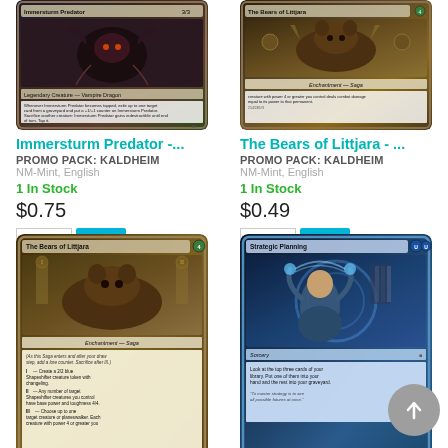[Figure (photo): Magic: The Gathering card image for Immersturm Predator - Promo Pack Kaldheim]
[Figure (photo): Magic: The Gathering card image for The Bears of Littjara - Promo Pack Kaldheim (top portion)]
Immersturm Predator -...
The Bears of Littjara - ...
PROMO PACK: KALDHEIM
PROMO PACK: KALDHEIM
NM-Mint, English
NM-Mint, English
1 In Stock
1 In Stock
$0.75
$0.49
[Figure (photo): Magic: The Gathering card image for The Bears of Littjara - full card view]
[Figure (photo): Magic: The Gathering card image for Strategic Planning]